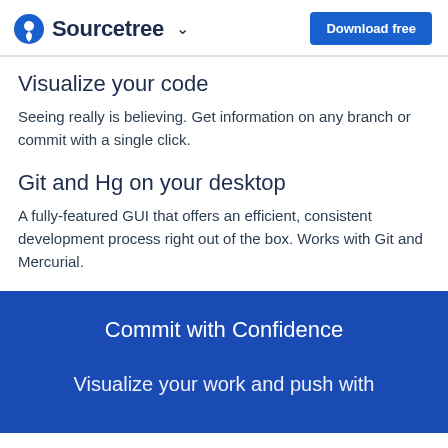Sourcetree ∨  Download free
Visualize your code
Seeing really is believing. Get information on any branch or commit with a single click.
Git and Hg on your desktop
A fully-featured GUI that offers an efficient, consistent development process right out of the box. Works with Git and Mercurial.
Commit with Confidence
Visualize your work and push with